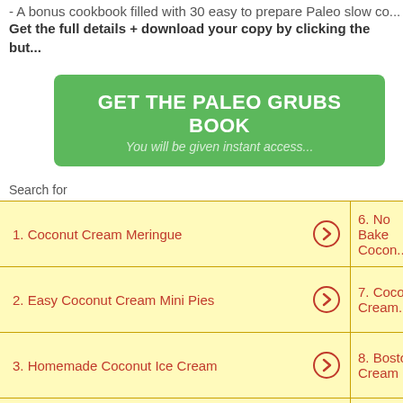- A bonus cookbook filled with 30 easy to prepare Paleo slow co...
Get the full details + download your copy by clicking the but...
[Figure (other): Green button reading GET THE PALEO GRUBS BOOK with subtitle You will be given instant access...]
Search for
1. Coconut Cream Meringue
6. No Bake Cocon...
2. Easy Coconut Cream Mini Pies
7. Coconut Cream...
3. Homemade Coconut Ice Cream
8. Boston Cream P...
4. Pineapple Coconut Smoothie
9. Recipe for Blue...
5. How to Make Whipped Cream
10. Coconut Layer C...